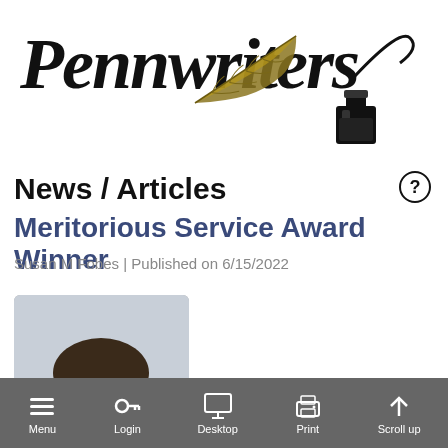[Figure (logo): Pennwriters logo with cursive text and quill pen with ink bottle illustration]
News / Articles
Meritorious Service Award Winner
Susan M Fobes | Published on 6/15/2022
[Figure (photo): Portrait photo of a person with short dark hair]
Menu  Login  Desktop  Print  Scroll up